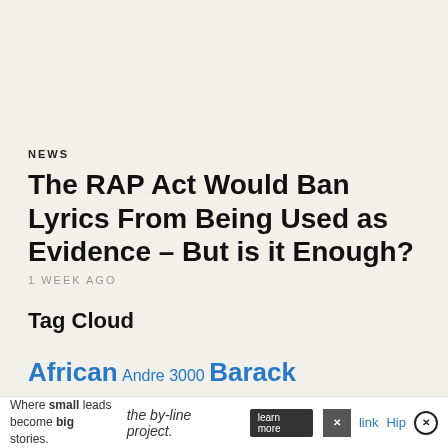NEWS
The RAP Act Would Ban Lyrics From Being Used as Evidence – But is it Enough?
1 WEEK AGO
Tag Cloud
African Andre 3000 Barack Obama Black Thought Blu Cardi B Chance The Rapper D'Angelo danny Dave Chappelle Donald T ... link Hip ...
[Figure (infographic): Advertisement bar at the bottom: 'Where small leads become big stories.' with the by-line project logo and learn more button, with close buttons]